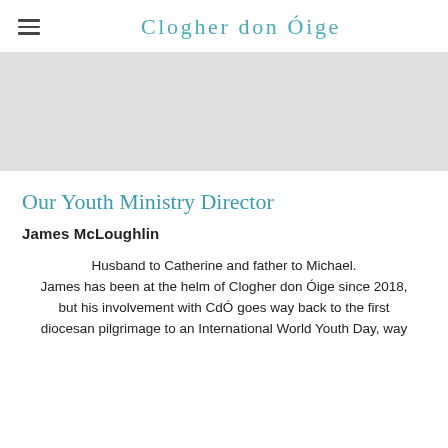Clogher don Óige
[Figure (photo): Gray placeholder hero image banner]
Our Youth Ministry Director
James McLoughlin
Husband to Catherine and father to Michael. James has been at the helm of Clogher don Óige since 2018, but his involvement with CdÓ goes way back to the first diocesan pilgrimage to an International World Youth Day, way